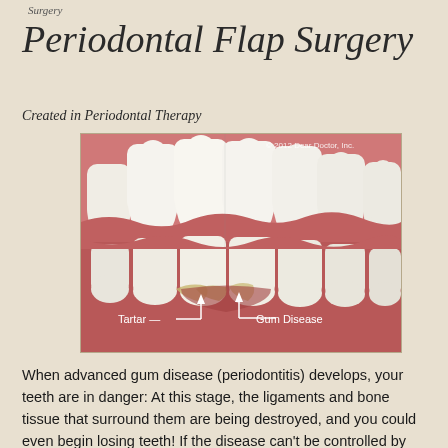Surgery
Periodontal Flap Surgery
Created in Periodontal Therapy
[Figure (illustration): Medical illustration of teeth showing gum disease and tartar buildup, with white arrows labeling 'Tartar' and 'Gum Disease' at the gumline. Copyright 2012 Dear Doctor, Inc.]
When advanced gum disease (periodontitis) develops, your teeth are in danger: At this stage, the ligaments and bone tissue that surround them are being destroyed, and you could even begin losing teeth! If the disease can't be controlled by non-surgical treatments like cleaning and scaling, then periodontal flap surgery